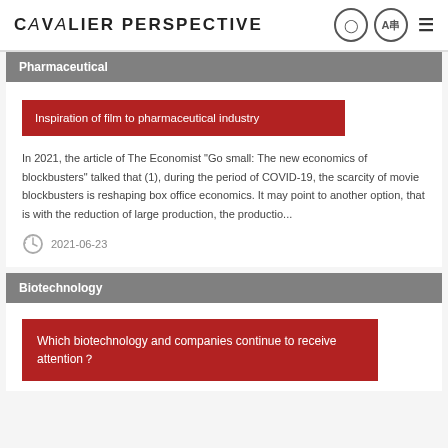CAVALIER PERSPECTIVE
Pharmaceutical
Inspiration of film to pharmaceutical industry
In 2021, the article of The Economist "Go small: The new economics of blockbusters" talked that (1), during the period of COVID-19, the scarcity of movie blockbusters is reshaping box office economics. It may point to another option, that is with the reduction of large production, the productio...
2021-06-23
Biotechnology
Which biotechnology and companies continue to receive attention？